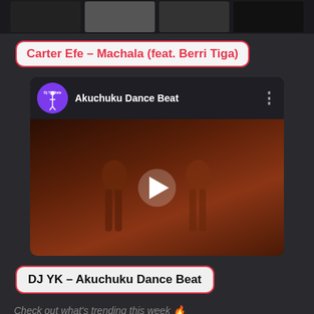[Figure (screenshot): Top image strip showing thumbnail photos in dark background]
Carter Efe – Machala (feat. Berri Tiga)
[Figure (screenshot): YouTube-style video embed for Akuchuku Dance Beat by Dj Yk Male with play button overlay]
DJ YK – Akuchuku Dance Beat
Check out what's trending this week 🔥
🔥TRENDING!🔥 'The Guy' Album by M.I Abaga DOWNLOAD NOW!